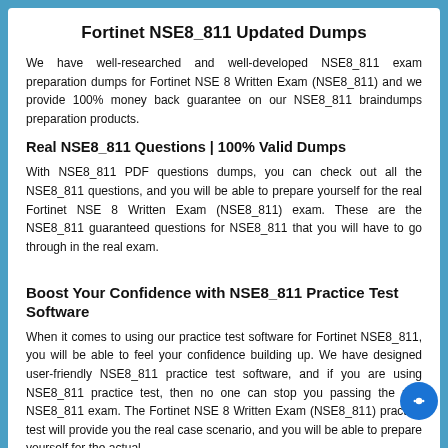Fortinet NSE8_811 Updated Dumps
We have well-researched and well-developed NSE8_811 exam preparation dumps for Fortinet NSE 8 Written Exam (NSE8_811) and we provide 100% money back guarantee on our NSE8_811 braindumps preparation products.
Real NSE8_811 Questions | 100% Valid Dumps
With NSE8_811 PDF questions dumps, you can check out all the NSE8_811 questions, and you will be able to prepare yourself for the real Fortinet NSE 8 Written Exam (NSE8_811) exam. These are the NSE8_811 guaranteed questions for NSE8_811 that you will have to go through in the real exam.
Boost Your Confidence with NSE8_811 Practice Test Software
When it comes to using our practice test software for Fortinet NSE8_811, you will be able to feel your confidence building up. We have designed user-friendly NSE8_811 practice test software, and if you are using NSE8_811 practice test, then no one can stop you passing the real NSE8_811 exam. The Fortinet NSE 8 Written Exam (NSE8_811) practice test will provide you the real case scenario, and you will be able to prepare yourself for the actual